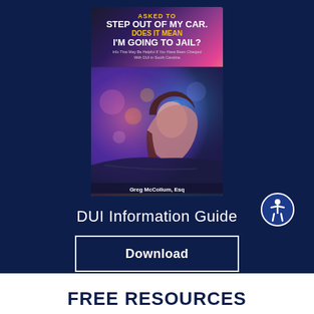[Figure (illustration): Book cover titled 'Asked to Step Out of My Car. Does It Mean I'm Going to Jail?' by Greg McCollum, Esq., featuring a woman in a car with colorful bokeh background. Dark navy blue background surrounds the book.]
DUI Information Guide
Download
FREE RESOURCES